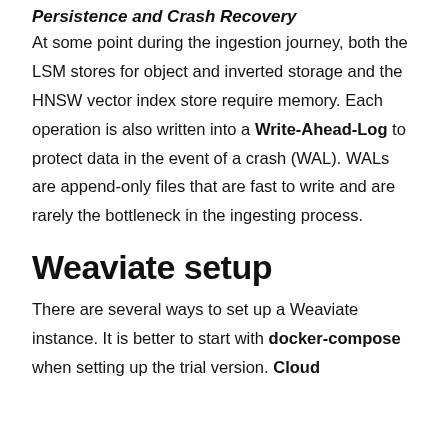Persistence and Crash Recovery
At some point during the ingestion journey, both the LSM stores for object and inverted storage and the HNSW vector index store require memory. Each operation is also written into a Write-Ahead-Log to protect data in the event of a crash (WAL). WALs are append-only files that are fast to write and are rarely the bottleneck in the ingesting process.
Weaviate setup
There are several ways to set up a Weaviate instance. It is better to start with docker-compose when setting up the trial version. Cloud